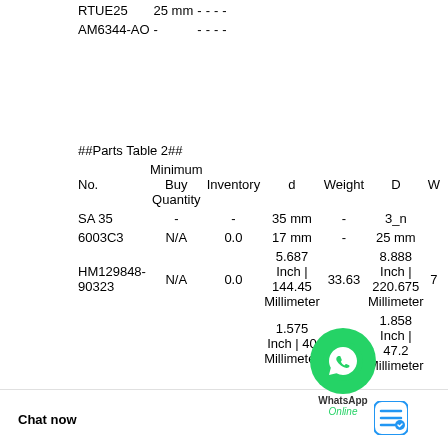|  |  | - | - | - | - |
| --- | --- | --- | --- | --- | --- |
| RTUE25 | 25 mm | - | - | - | - |
| AM6344-AO | - | - | - | - | - |
| No. | Minimum Buy Quantity | Inventory | d | Weight | D | W |
| --- | --- | --- | --- | --- | --- | --- |
| SA 35 | - | - | 35 mm | - | 3_n |  |
| 6003C3 | N/A | 0.0 | 17 mm | - | 25 mm |  |
| HM129848-90323 | N/A | 0.0 | 5.687 Inch | 144.45 Millimeter | 33.63 | 8.888 Inch | 220.675 Millimeter | 7 |
|  |  |  | 1.575 Inch | 40 Millimeter | 2.141 | 1.858 Inch | 47.2 Millimeter |  |